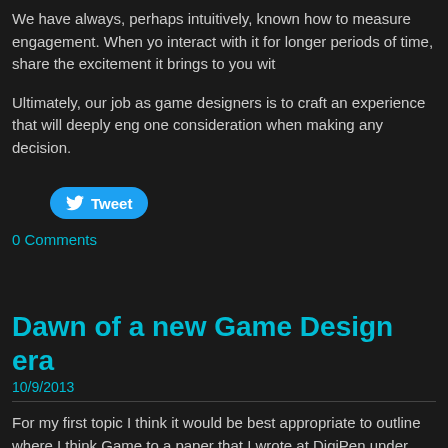We have always, perhaps intuitively, known how to measure engagement. When you interact with it for longer periods of time, share the excitement it brings to you wit
Ultimately, our job as game designers is to craft an experience that will deeply eng one consideration when making any decision.
[Figure (other): Tweet button with Twitter bird icon]
0 Comments
Dawn of a new Game Design era
10/9/2013
For my first topic I think it would be best appropriate to outline where I think Game to a paper that I wrote at DigiPen under professor Benjamin Ellinger's supervision w framework (which I'll certainly be talking more about in future posts). So without f
Games and humanity
Games have been accompanying mankind for many millennia. In fact, for as long a there have also been records of ludic activities.